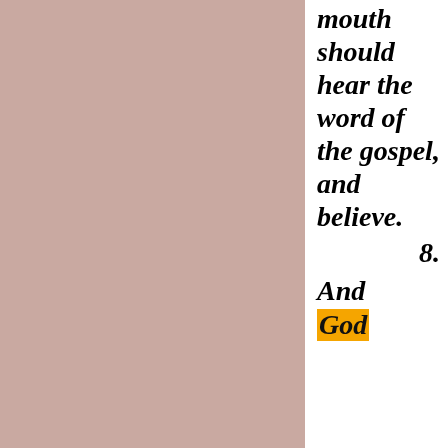[Figure (illustration): Large dusty rose/mauve colored rectangular panel occupying the left approximately 68% of the page]
mouth should hear the word of the gospel, and believe.
8.
And God